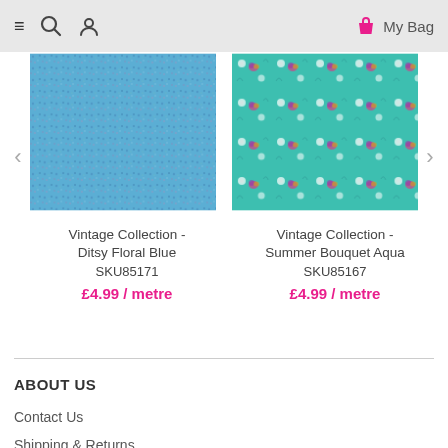≡  🔍  👤  My Bag
[Figure (photo): Blue ditsy floral fabric texture - Vintage Collection Ditsy Floral Blue]
Vintage Collection - Ditsy Floral Blue
SKU85171
£4.99 / metre
[Figure (photo): Aqua/teal fabric with floral bouquet pattern - Vintage Collection Summer Bouquet Aqua]
Vintage Collection - Summer Bouquet Aqua
SKU85167
£4.99 / metre
ABOUT US
Contact Us
Shipping & Returns
Privacy statement